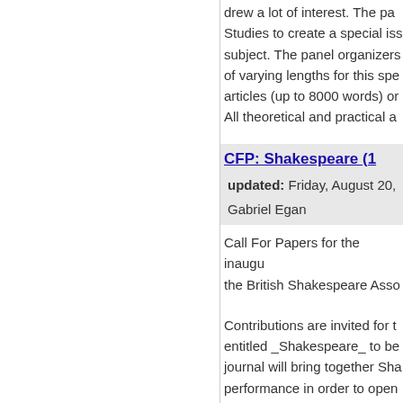drew a lot of interest. The pa... Studies to create a special iss... subject. The panel organizers... of varying lengths for this spe... articles (up to 8000 words) or... All theoretical and practical a...
CFP: Shakespeare (1...
updated: Friday, August 20,...
Gabriel Egan
Call For Papers for the inaugu... the British Shakespeare Asso...
Contributions are invited for t... entitled _Shakespeare_ to be... journal will bring together Sha... performance in order to open...